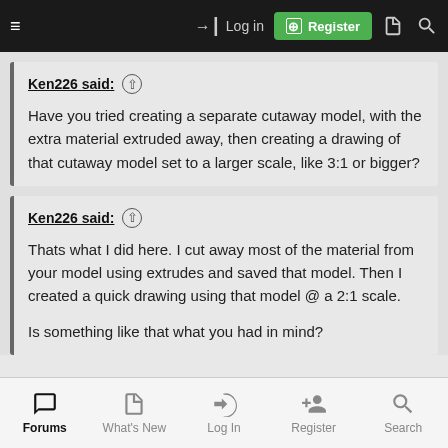Log in | Register
Ken226 said: ↑

Have you tried creating a separate cutaway model, with the extra material extruded away, then creating a drawing of that cutaway model set to a larger scale, like 3:1 or bigger?
Ken226 said: ↑

Thats what I did here. I cut away most of the material from your model using extrudes and saved that model. Then I created a quick drawing using that model @ a 2:1 scale.

Is something like that what you had in mind?
Forums | What's New | Log In | Register | Search